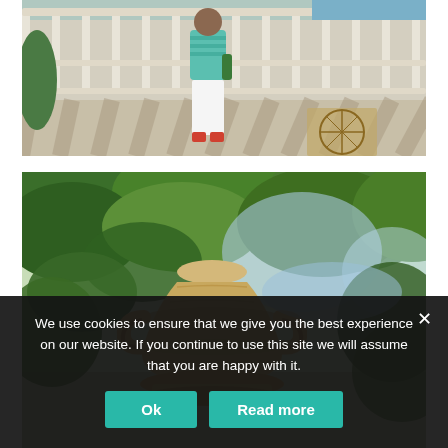[Figure (photo): A person wearing a teal sleeveless top and white pants, carrying a green bottle, walking along a terrace with white railings and decorative tile floor. Outdoor sunny setting.]
[Figure (photo): A large decorative ceramic/terracotta urn or vase surrounded by lush green ivy and trees in a garden setting.]
We use cookies to ensure that we give you the best experience on our website. If you continue to use this site we will assume that you are happy with it.